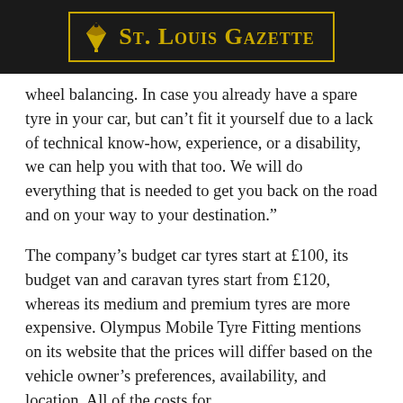St. Louis Gazette
wheel balancing. In case you already have a spare tyre in your car, but can’t fit it yourself due to a lack of technical know-how, experience, or a disability, we can help you with that too. We will do everything that is needed to get you back on the road and on your way to your destination.”
The company’s budget car tyres start at £100, its budget van and caravan tyres start from £120, whereas its medium and premium tyres are more expensive. Olympus Mobile Tyre Fitting mentions on its website that the prices will differ based on the vehicle owner’s preferences, availability, and location. All of the costs for